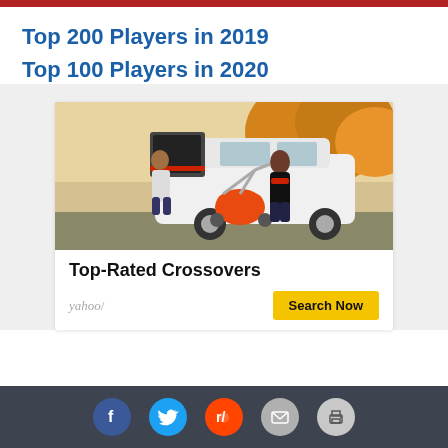Top 200 Players in 2019
Top 100 Players in 2020
[Figure (photo): A woman loading an orange stroller into the trunk of a white SUV crossover in an autumn outdoor setting, with a man standing nearby.]
Top-Rated Crossovers
yahoo/
Search Now
Social share icons: Facebook, Twitter, Reddit, Email, Print